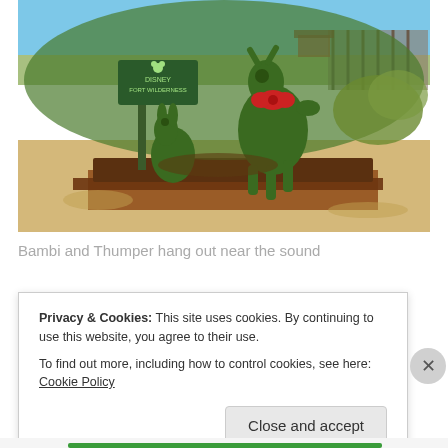[Figure (photo): Topiary sculptures of Bambi and Thumper (Disney characters) made of green shrubs/moss, standing in a sandy outdoor area near a sound. Bambi has a red bow around its neck. A green sign is visible behind them, and a pier/boardwalk structure is in the background under a blue sky.]
Bambi and Thumper hang out near the sound
Privacy & Cookies: This site uses cookies. By continuing to use this website, you agree to their use.
To find out more, including how to control cookies, see here: Cookie Policy